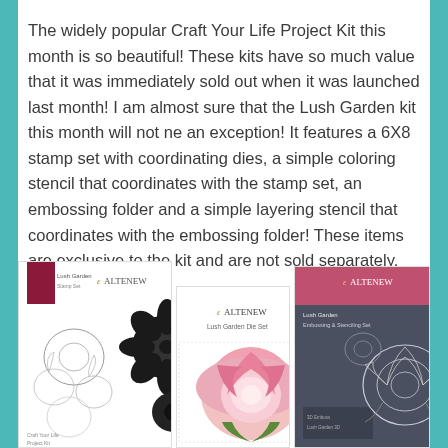The widely popular Craft Your Life Project Kit this month is so beautiful! These kits have so much value that it was immediately sold out when it was launched last month! I am almost sure that the Lush Garden kit this month will not ne an exception! It features a 6X8 stamp set with coordinating dies, a simple coloring stencil that coordinates with the stamp set, an embossing folder and a simple layering stencil that coordinates with the embossing folder! These items are exclusive to the kit and are not sold separately.
[Figure (photo): Three Altenew Lush Garden product packaging images: a stamp set with floral designs in black and white, a die set with a pink flower, and a stencil/embossing folder product on dark background.]